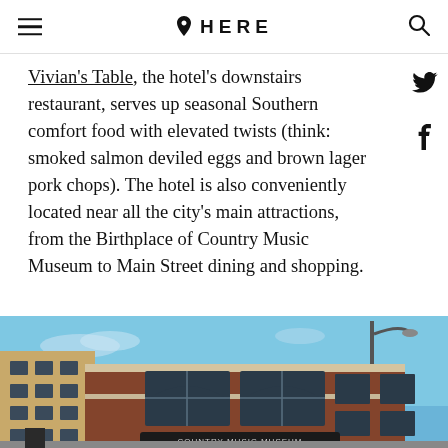HERE
Vivian's Table, the hotel's downstairs restaurant, serves up seasonal Southern comfort food with elevated twists (think: smoked salmon deviled eggs and brown lager pork chops). The hotel is also conveniently located near all the city's main attractions, from the Birthplace of Country Music Museum to Main Street dining and shopping.
[Figure (photo): Exterior photo of the Birthplace of Country Music Museum, a large brick building photographed from street level against a blue sky, with a street lamp visible on the right side.]